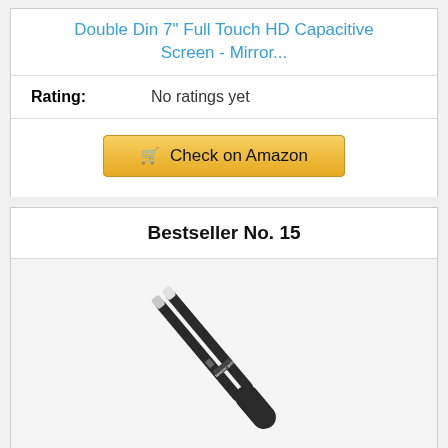Double Din 7" Full Touch HD Capacitive Screen - Mirror...
Rating: No ratings yet
Check on Amazon
Bestseller No. 15
[Figure (photo): A black Tweezer Guru tweezers/precision tweezers shown diagonally against a light gray background, with white tips visible at the top end and the brand name 'tweezer guru' printed on the body.]
Tweezer Guru Tweezers for Eyebrows - Pointed Precision Tweezers for Eyebrows...